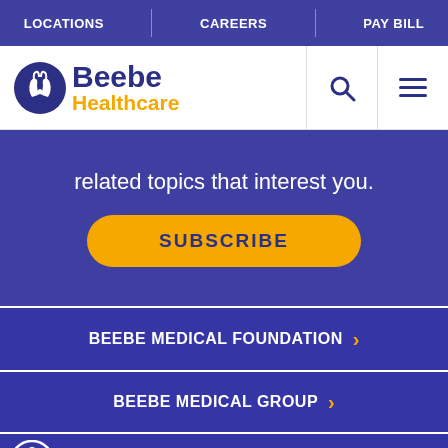LOCATIONS | CAREERS | PAY BILL
[Figure (logo): Beebe Healthcare logo with hands icon, blue 'Beebe' text and yellow 'Healthcare' text]
related topics that interest you.
SUBSCRIBE
BEEBE MEDICAL FOUNDATION ›
BEEBE MEDICAL GROUP ›
MARGARET H. ROLLINS SCHOOL OF NURSING ›